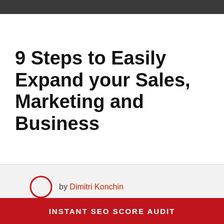9 Steps to Easily Expand your Sales, Marketing and Business
by Dimitri Konchin
June 5, 2017
INSTANT SEO SCORE AUDIT